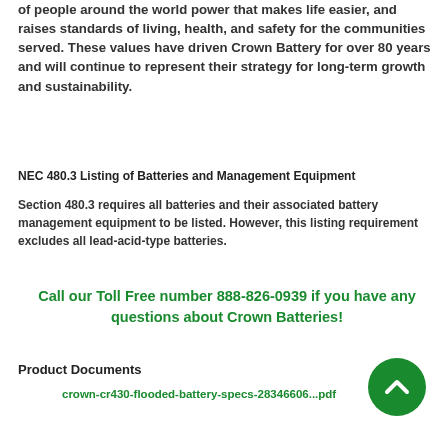of people around the world power that makes life easier, and raises standards of living, health, and safety for the communities served. These values have driven Crown Battery for over 80 years and will continue to represent their strategy for long-term growth and sustainability.
NEC 480.3 Listing of Batteries and Management Equipment
Section 480.3 requires all batteries and their associated battery management equipment to be listed. However, this listing requirement excludes all lead-acid-type batteries.
Call our Toll Free number 888-826-0939 if you have any questions about Crown Batteries!
Product Documents
crown-cr430-flooded-battery-specs-28346606...pdf